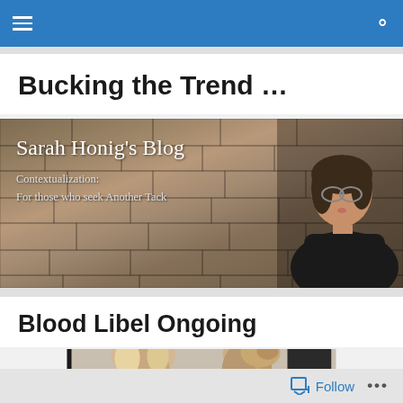Navigation bar with hamburger menu and search icon
Bucking the Trend …
[Figure (photo): Sarah Honig's Blog banner image with stone wall background and woman's portrait on right side. Text reads: 'Sarah Honig's Blog' and 'Contextualization: For those who seek Another Tack']
Blood Libel Ongoing
[Figure (photo): Partial photo showing two women with blonde hair, partially cropped at bottom of page]
Follow  •••